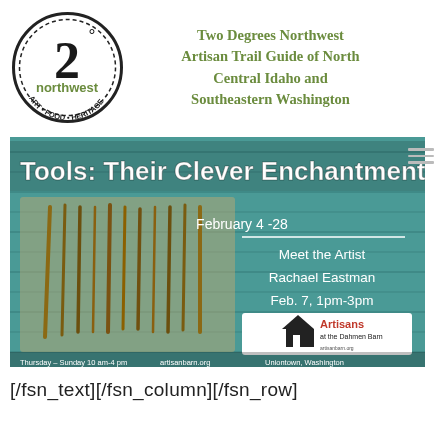[Figure (logo): Two Degrees Northwest circular logo with '2°', 'northwest', 'ART • FOOD • HERITAGE' text]
Two Degrees Northwest Artisan Trail Guide of North Central Idaho and Southeastern Washington
[Figure (photo): Event poster for 'Tools: Their Clever Enchantment' exhibit at Artisans at the Dahmen Barn, February 4-28, featuring tools artwork on teal barn wood background. Meet the Artist Rachael Eastman, Feb. 7, 1pm-3pm. Thursday-Sunday 10am-4pm, artisanbarn.org, Uniontown, Washington.]
[/fsn_text][/fsn_column][/fsn_row]